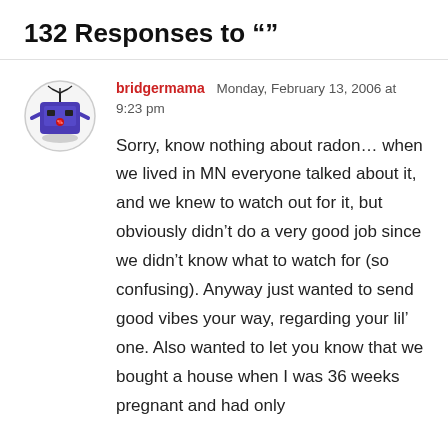132 Responses to ""
[Figure (illustration): User avatar: circular border with a purple/blue square robot-like character with a red dot and black tree on top, on a gray surface]
bridgermama   Monday, February 13, 2006 at 9:23 pm
Sorry, know nothing about radon… when we lived in MN everyone talked about it, and we knew to watch out for it, but obviously didn't do a very good job since we didn't know what to watch for (so confusing). Anyway just wanted to send good vibes your way, regarding your lil' one. Also wanted to let you know that we bought a house when I was 36 weeks pregnant and had only